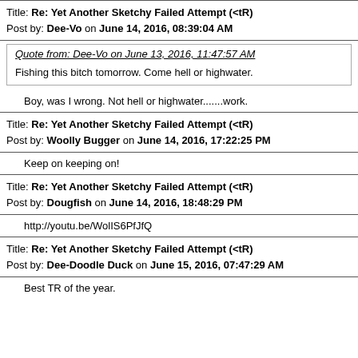Title: Re: Yet Another Sketchy Failed Attempt (<tR)
Post by: Dee-Vo on June 14, 2016, 08:39:04 AM
Quote from: Dee-Vo on June 13, 2016, 11:47:57 AM
Fishing this bitch tomorrow. Come hell or highwater.
Boy, was I wrong. Not hell or highwater.......work.
Title: Re: Yet Another Sketchy Failed Attempt (<tR)
Post by: Woolly Bugger on June 14, 2016, 17:22:25 PM
Keep on keeping on!
Title: Re: Yet Another Sketchy Failed Attempt (<tR)
Post by: Dougfish on June 14, 2016, 18:48:29 PM
http://youtu.be/WolIS6PfJfQ
Title: Re: Yet Another Sketchy Failed Attempt (<tR)
Post by: Dee-Doodle Duck on June 15, 2016, 07:47:29 AM
Best TR of the year.